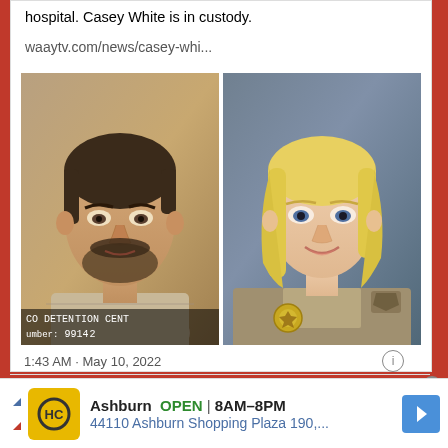hospital. Casey White is in custody.
waaytv.com/news/casey-whi...
[Figure (photo): Two side-by-side photos: left is a mugshot of Casey White (male, dark beard) with text 'CO DETENTION CENTER' and 'number: 99142'; right is a portrait photo of a blonde woman in a tan sheriff's uniform]
1:43 AM · May 10, 2022
Ashburn  OPEN  8AM–8PM  44110 Ashburn Shopping Plaza 190,...